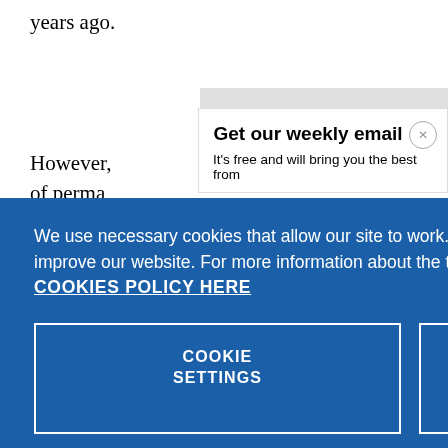years ago.
However, of perma sides acq It's free and will bring you the best from
[Figure (screenshot): Email signup modal with title 'Get our weekly email' and subtitle 'It’s free and will bring you the best from', with a close X button, overlaid on article text]
We use necessary cookies that allow our site to work. We also set optional cookies that help us improve our website. For more information about the types of cookies we use. READ OUR COOKIES POLICY HERE
COOKIE SETTINGS
ALLOW ALL COOKIES
data.